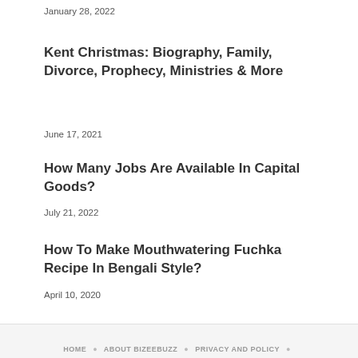January 28, 2022
Kent Christmas: Biography, Family, Divorce, Prophecy, Ministries & More
June 17, 2021
How Many Jobs Are Available In Capital Goods?
July 21, 2022
How To Make Mouthwatering Fuchka Recipe In Bengali Style?
April 10, 2020
HOME · ABOUT BIZEEBUZZ · PRIVACY AND POLICY ·